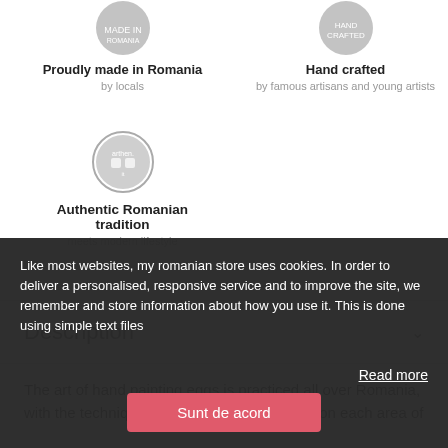[Figure (logo): Circular gray badge/seal icon for 'Proudly made in Romania']
Proudly made in Romania
by locals
[Figure (logo): Circular gray badge/seal icon for 'Hand crafted']
Hand crafted
by famous artisans and young artists
[Figure (logo): Circular gray arthen.it badge icon for 'Authentic Romanian tradition']
Authentic Romanian tradition
meets modern lifestyle
Description
The art of hand painting eggs is practiced all over Romania, with the technique varying a little depending on each area of
Like most websites, my romanian store uses cookies. In order to deliver a personalised, responsive service and to improve the site, we remember and store information about how you use it. This is done using simple text files
Read more
Sunt de acord